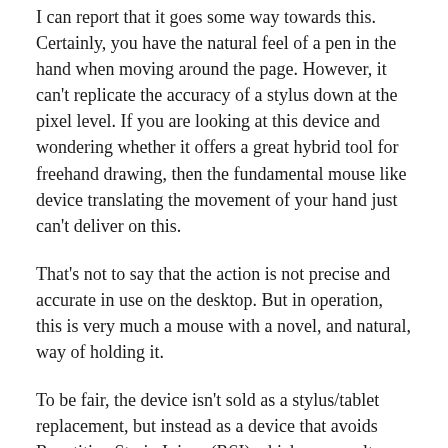I can report that it goes some way towards this. Certainly, you have the natural feel of a pen in the hand when moving around the page. However, it can't replicate the accuracy of a stylus down at the pixel level. If you are looking at this device and wondering whether it offers a great hybrid tool for freehand drawing, then the fundamental mouse like device translating the movement of your hand just can't deliver on this.
That's not to say that the action is not precise and accurate in use on the desktop. But in operation, this is very much a mouse with a novel, and natural, way of holding it.
To be fair, the device isn't sold as a stylus/tablet replacement, but instead as a device that avoids Repetitive Strain Injury (RSI) which can result from using an ill designed mouse.